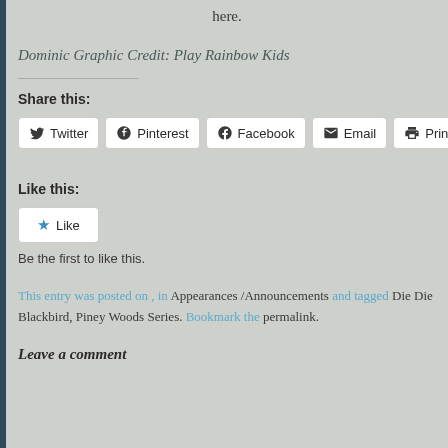here.
Dominic Graphic Credit: Play Rainbow Kids
Share this:
Twitter  Pinterest  Facebook  Email  Print
Like this:
Like
Be the first to like this.
This entry was posted on , in Appearances /Announcements and tagged Die Die Blackbird, Piney Woods Series. Bookmark the permalink.
Leave a comment